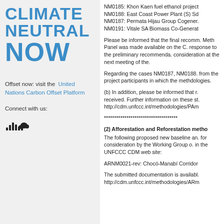[Figure (logo): Climate Neutral Now logo in bold blue uppercase text]
Offset now: visit the United Nations Carbon Offset Platform
Connect with us:
[Figure (logo): SoundCloud icon]
NM0185: Khon Kaen fuel ethanol project
NM0188: East Coast Power Plant (S) Sd
NM0187: Permata Hijau Group Cogener.
NM0191: Vitale SA Biomass Co-Generat
Please be informed that the final recomm. Meth Panel was made available on the C. response to the preliminary recommenda. consideration at the next meeting of the.
Regarding the cases NM0187, NM0188. from the project participants in which the methdologies.
(b) In addition, please be informed that r. received. Further information on these st. http://cdm.unfccc.int/methodologies/PAm
************************************
(2) Afforestation and Reforestation metho
The following proposed new baseline an. for consideration by the Working Group o. in the UNFCCC CDM web site:
ARNM0021-rev: Chocó-Manabí Corridor
The submitted documentation is availabl. http://cdm.unfccc.int/methodologies/ARm